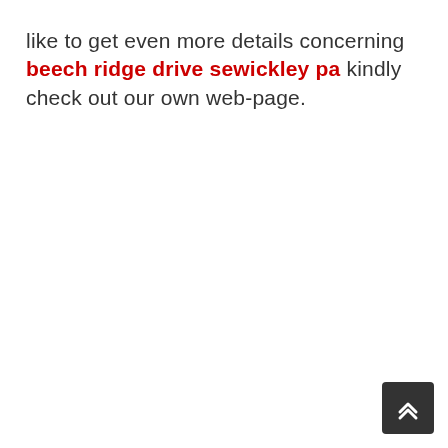like to get even more details concerning beech ridge drive sewickley pa kindly check out our own web-page.